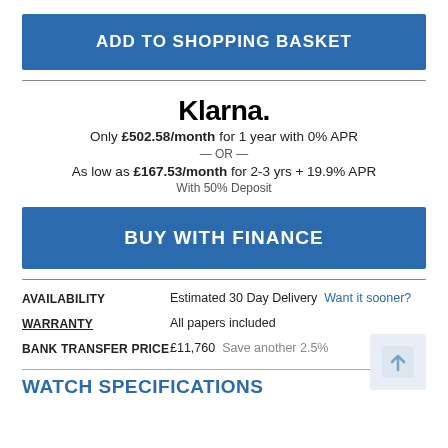ADD TO SHOPPING BASKET
Klarna.
Only £502.58/month for 1 year with 0% APR
— OR —
As low as £167.53/month for 2-3 yrs + 19.9% APR
With 50% Deposit
BUY WITH FINANCE
| AVAILABILITY | Estimated 30 Day Delivery  Want it sooner? |
| WARRANTY | All papers included |
| BANK TRANSFER PRICE | £11,760  Save another 2.5% |
WATCH SPECIFICATIONS